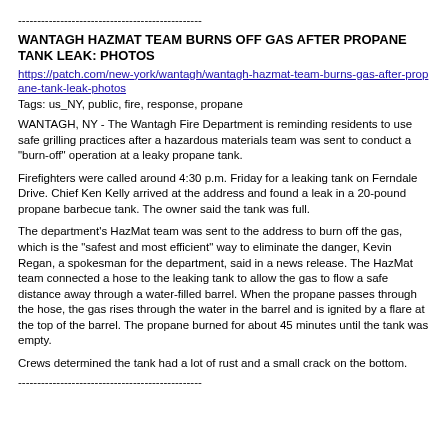------------------------------------------------
WANTAGH HAZMAT TEAM BURNS OFF GAS AFTER PROPANE TANK LEAK: PHOTOS
https://patch.com/new-york/wantagh/wantagh-hazmat-team-burns-gas-after-propane-tank-leak-photos
Tags: us_NY, public, fire, response, propane
WANTAGH, NY - The Wantagh Fire Department is reminding residents to use safe grilling practices after a hazardous materials team was sent to conduct a "burn-off" operation at a leaky propane tank.
Firefighters were called around 4:30 p.m. Friday for a leaking tank on Ferndale Drive. Chief Ken Kelly arrived at the address and found a leak in a 20-pound propane barbecue tank. The owner said the tank was full.
The department's HazMat team was sent to the address to burn off the gas, which is the "safest and most efficient" way to eliminate the danger, Kevin Regan, a spokesman for the department, said in a news release. The HazMat team connected a hose to the leaking tank to allow the gas to flow a safe distance away through a water-filled barrel. When the propane passes through the hose, the gas rises through the water in the barrel and is ignited by a flare at the top of the barrel. The propane burned for about 45 minutes until the tank was empty.
Crews determined the tank had a lot of rust and a small crack on the bottom.
------------------------------------------------